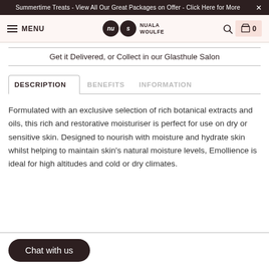Summertime Treats - View All Our Great Packages on Offer - Click Here for More  ×
MENU  |  nu s NUALA WOULFE  |  🔍  |  🛍 0
Get it Delivered, or Collect in our Glasthule Salon
DESCRIPTION  |  BENEFITS  |  INFORMATION
Formulated with an exclusive selection of rich botanical extracts and oils, this rich and restorative moisturiser is perfect for use on dry or sensitive skin. Designed to nourish with moisture and hydrate skin whilst helping to maintain skin's natural moisture levels, Emollience is ideal for high altitudes and cold or dry climates.
Chat with us